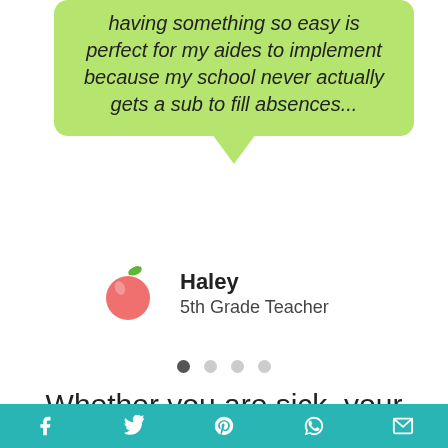having something so easy is perfect for my aides to implement because my school never actually gets a sub to fill absences...
Haley
5th Grade Teacher
Whether you are sick, your child gets sick, or another emergency happens,
Share icons: Facebook, Twitter, Pinterest, WhatsApp, Email